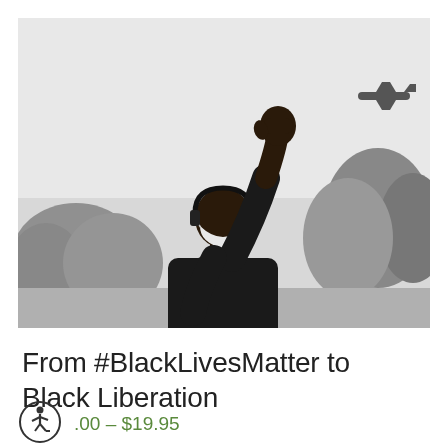[Figure (photo): Black and white photograph of a person wearing a face mask and raising their fist in the air, with trees in the background and an airplane visible in the upper right. The image is associated with Black Lives Matter activism.]
From #BlackLivesMatter to Black Liberation
$5.00 – $19.95